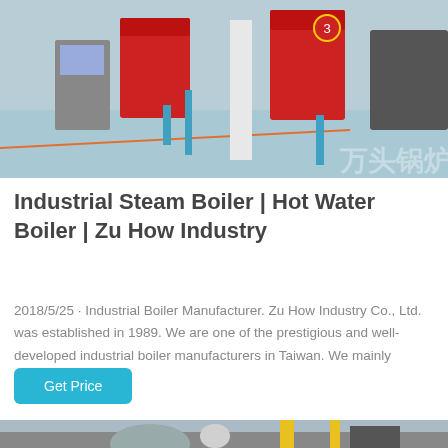[Figure (photo): Industrial boiler room with red boilers on a blue-green floor, Chinese watermark text visible]
Industrial Steam Boiler | Hot Water Boiler | Zu How Industry
2018/5/25 · Industrial Boiler Manufacturer. Zu How Industry Co., Ltd. was established in 1989. We are one of the prestigious and well-developed industrial boiler manufacturers in Taiwan. We mainly engaged i...
Get Price
[Figure (photo): Industrial boiler equipment with yellow pipes and cylindrical tanks in a factory setting]